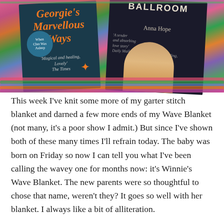[Figure (photo): Two book covers photographed on a colorful crocheted blanket. Left book: dark teal cover with orange italic text reading 'Marvellous Ways' with a starfish graphic and circular badge. Right book: dark book with 'BALLROOM' and 'Anna Hope' text, with a ballet dancer image and review blurbs.]
This week I've knit some more of my garter stitch blanket and darned a few more ends of my Wave Blanket (not many, it's a poor show I admit.) But since I've shown both of these many times I'll refrain today. The baby was born on Friday so now I can tell you what I've been calling the wavey one for months now: it's Winnie's Wave Blanket. The new parents were so thoughtful to chose that name, weren't they? It goes so well with her blanket. I always like a bit of alliteration.
My little pile of washcloths is slowly growing. I'll do four